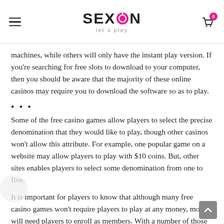SEXON let's play
machines, while others will only have the instant play version. If you're searching for free slots to download to your computer, then you should be aware that the majority of these online casinos may require you to download the software so as to play.
Some of the free casino games allow players to select the precise denomination that they would like to play, though other casinos won't allow this attribute. For example, one popular game on a website may allow players to play with $10 coins. But, other sites enables players to select some denomination from one to five.
It is important for players to know that although many free casino games won't require players to play at any money, most will need players to enroll as members. With a number of those sites, players will be required to create a user name and password so as to access the internet casinos. All these user names and passwords are often used by site security personnel in order to validate the registration information of each player. In addition to providing players with a